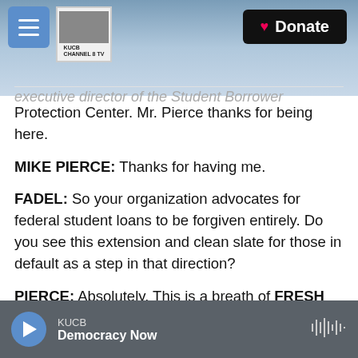KUCB Channel 8 TV — Donate
Protection Center. Mr. Pierce thanks for being here.
MIKE PIERCE: Thanks for having me.
FADEL: So your organization advocates for federal student loans to be forgiven entirely. Do you see this extension and clean slate for those in default as a step in that direction?
PIERCE: Absolutely. This is a breath of FRESH AIR for tens of millions of people and very welcome news. But it also sets up a very high-stakes decision for President Biden over the summer. The
KUCB — Democracy Now